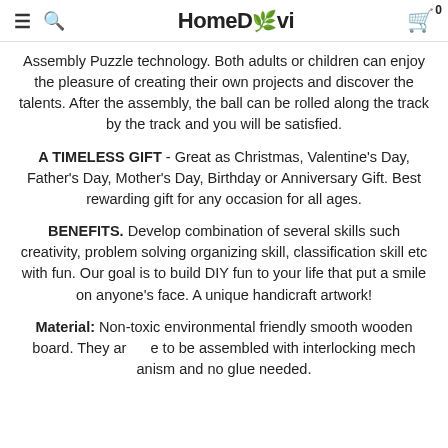HomeDevi - navigation header with hamburger, search, logo, cart
Assembly Puzzle technology. Both adults or children can enjoy the pleasure of creating their own projects and discover the talents. After the assembly, the ball can be rolled along the track by the track and you will be satisfied.
A TIMELESS GIFT - Great as Christmas, Valentine's Day, Father's Day, Mother's Day, Birthday or Anniversary Gift. Best rewarding gift for any occasion for all ages.
BENEFITS. Develop combination of several skills such creativity, problem solving organizing skill, classification skill etc with fun. Our goal is to build DIY fun to your life that put a smile on anyone's face. A unique handicraft artwork!
Material: Non-toxic environmental friendly smooth wooden board. They are to be assembled with interlocking mechanism and no glue needed.